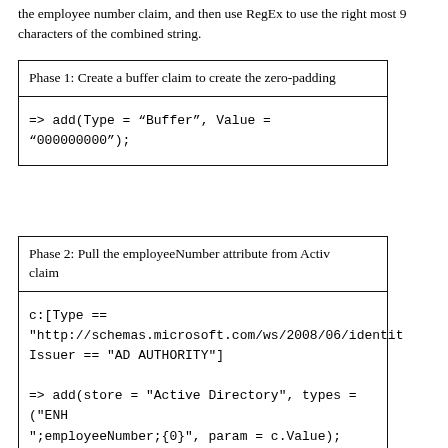the employee number claim, and then use RegEx to use the right most 9 characters of the combined string.
Phase 1: Create a buffer claim to create the zero-padding
=> add(Type = "Buffer", Value = "000000000");
Phase 2: Pull the employeeNumber attribute from Active Directory claim
c:[Type == "http://schemas.microsoft.com/ws/2008/06/identity... Issuer == "AD AUTHORITY"]
=> add(store = "Active Directory", types = ("ENH...";employeeNumber;{0}", param = c.Value);